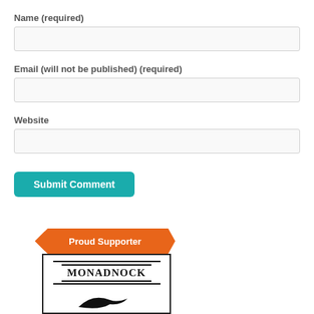Name (required)
Email (will not be published) (required)
Website
Submit Comment
[Figure (logo): Proud Supporter banner in orange with MONADNOCK logo below in a black-bordered box]